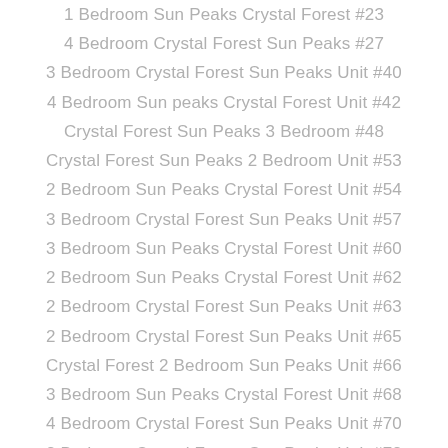1 Bedroom Sun Peaks Crystal Forest #23
4 Bedroom Crystal Forest Sun Peaks #27
3 Bedroom Crystal Forest Sun Peaks Unit #40
4 Bedroom Sun peaks Crystal Forest Unit #42
Crystal Forest Sun Peaks 3 Bedroom #48
Crystal Forest Sun Peaks 2 Bedroom Unit #53
2 Bedroom Sun Peaks Crystal Forest Unit #54
3 Bedroom Crystal Forest Sun Peaks Unit #57
3 Bedroom Sun Peaks Crystal Forest Unit #60
2 Bedroom Sun Peaks Crystal Forest Unit #62
2 Bedroom Crystal Forest Sun Peaks Unit #63
2 Bedroom Crystal Forest Sun Peaks Unit #65
Crystal Forest 2 Bedroom Sun Peaks Unit #66
3 Bedroom Sun Peaks Crystal Forest Unit #68
4 Bedroom Crystal Forest Sun Peaks Unit #70
2 Bedroom Crystal Forest Sun Peaks Unit #72
1 Bedroom Crystal Forest Sun Peaks Unit #6
4 Bedroom Crystal Forest Sun Peaks Unit #50
2 Bedroom Sun Peaks Crystal Forest Unit #25